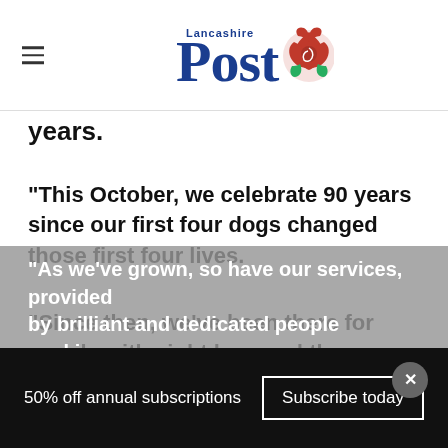Lancashire Post
years.
"This October, we celebrate 90 years since our first four dogs changed those first four lives.
"Since then, we've been there for people with sight loss and those around them – every day and every step of the way.
"As we've grown, so have our services, provided by brilliant and dedicated people working
50% off annual subscriptions
Subscribe today